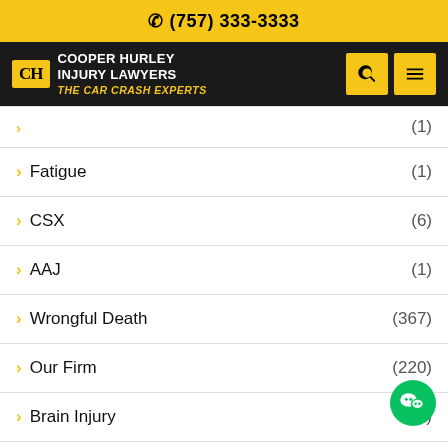(757) 333-3333
[Figure (logo): Cooper Hurley Injury Lawyers - The Car Crash Experts logo with navigation bar]
Fatigue (1)
CSX (6)
AAJ (1)
Wrongful Death (367)
Our Firm (220)
Brain Injury (2)
Medical Conditions (1)